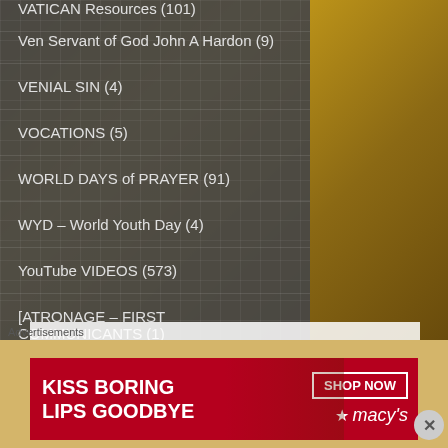VATICAN Resources (101)
Ven Servant of God John A Hardon (9)
VENIAL SIN (4)
VOCATIONS (5)
WORLD DAYS of PRAYER (91)
WYD – World Youth Day (4)
YouTube VIDEOS (573)
[ATRONAGE – FIRST COMMUNICANTS (1)
Advertisements
[Figure (infographic): Macys advertisement: KISS BORING LIPS GOODBYE with SHOP NOW button and Macys star logo on red background]